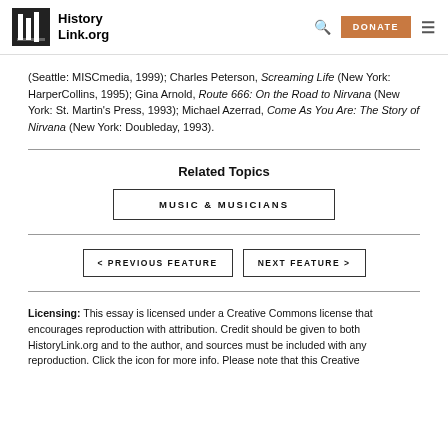HistoryLink.org
(Seattle: MISCmedia, 1999); Charles Peterson, Screaming Life (New York: HarperCollins, 1995); Gina Arnold, Route 666: On the Road to Nirvana (New York: St. Martin's Press, 1993); Michael Azerrad, Come As You Are: The Story of Nirvana (New York: Doubleday, 1993).
Related Topics
MUSIC & MUSICIANS
< PREVIOUS FEATURE
NEXT FEATURE >
Licensing: This essay is licensed under a Creative Commons license that encourages reproduction with attribution. Credit should be given to both HistoryLink.org and to the author, and sources must be included with any reproduction. Click the icon for more info. Please note that this Creative